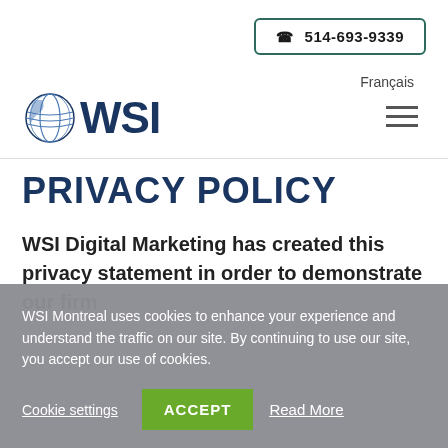📞 514-693-9339  Français
[Figure (logo): WSI globe and text logo in dark blue]
PRIVACY POLICY
WSI Digital Marketing has created this privacy statement in order to demonstrate our firm
WSI Montreal uses cookies to enhance your experience and understand the traffic on our site. By continuing to use our site, you accept our use of cookies.

Cookie settings  ACCEPT  Read More